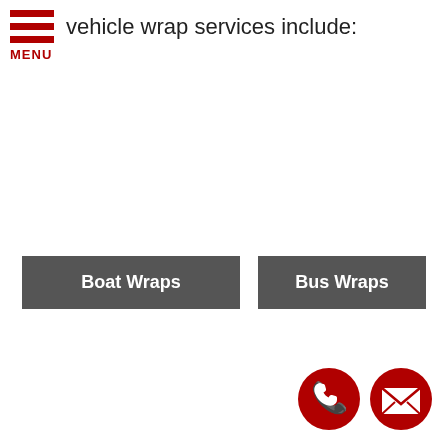MENU
vehicle wrap services include:
Boat Wraps
Bus Wraps
[Figure (infographic): Two circular red icon buttons: a phone handset icon and an envelope/mail icon]